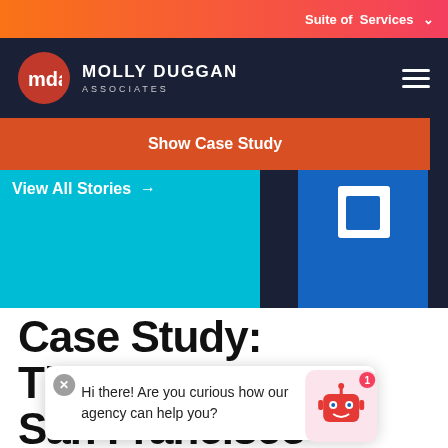Suite of Services
[Figure (logo): Molly Duggan Associates logo — red circle with MDA text, company name in white on dark navy background]
MOLLY DUGGAN ASSOCIATES
[Figure (screenshot): Website hero section with cyan/blue gradient background, costume figure on right, Show Case Study orange button, View All Stories link]
Show Case Study
View All Stories →
Case Study: The City of San Francisco
Hi there! Are you curious how our agency can help you?